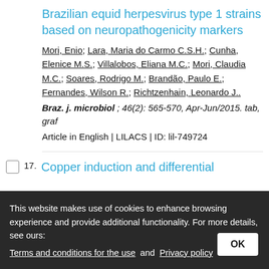Brazilian equid herpesvirus type 1 strains based on neuropathogenicity markers
Mori, Enio; Lara, Maria do Carmo C.S.H.; Cunha, Elenice M.S.; Villalobos, Eliana M.C.; Mori, Claudia M.C.; Soares, Rodrigo M.; Brandão, Paulo E.; Fernandes, Wilson R.; Richtzenhain, Leonardo J..
Braz. j. microbiol ; 46(2): 565-570, Apr-Jun/2015. tab, graf
Article in English | LILACS | ID: lil-749724
17. Copper induction and differential
This website makes use of cookies to enhance browsing experience and provide additional functionality. For more details, see ours: Terms and conditions for the use and Privacy policy